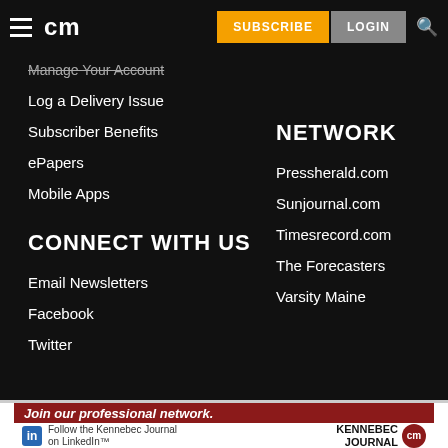cm | SUBSCRIBE | LOGIN
Manage Your Account
Log a Delivery Issue
Subscriber Benefits
ePapers
Mobile Apps
CONNECT WITH US
Email Newsletters
Facebook
Twitter
NETWORK
Pressherald.com
Sunjournal.com
Timesrecord.com
The Forecasters
Varsity Maine
[Figure (screenshot): Advertisement banner: 'Join our professional network.' - Follow the Kennebec Journal on LinkedIn. Shows LinkedIn logo, Kennebec Journal text logo and cm circle logo on dark red background.]